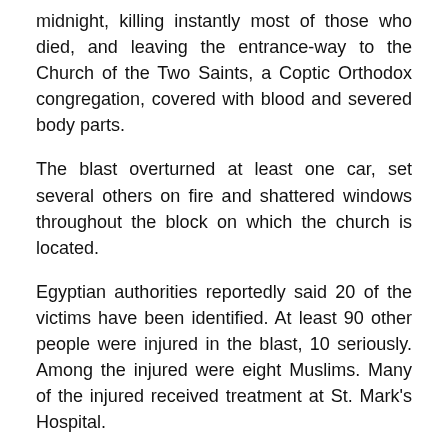midnight, killing instantly most of those who died, and leaving the entrance-way to the Church of the Two Saints, a Coptic Orthodox congregation, covered with blood and severed body parts.
The blast overturned at least one car, set several others on fire and shattered windows throughout the block on which the church is located.
Egyptian authorities reportedly said 20 of the victims have been identified. At least 90 other people were injured in the blast, 10 seriously. Among the injured were eight Muslims. Many of the injured received treatment at St. Mark's Hospital.
Burial services for some of the victims started Sunday (Jan. 2) in Alexandria, located in northern Egypt on the Mediterranean Sea.